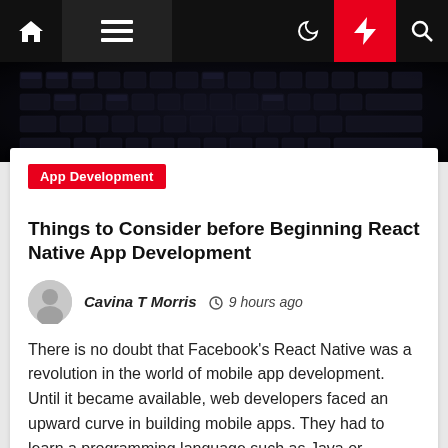Navigation bar with home, menu, moon, lightning, and search icons
[Figure (photo): Dark keyboard hero image with blurred keys on dark background]
App Development
Things to Consider before Beginning React Native App Development
Cavina T Morris  9 hours ago
There is no doubt that Facebook's React Native was a revolution in the world of mobile app development. Until it became available, web developers faced an upward curve in building mobile apps. They had to learn a programming language such as Java or Objective-C, with no seamless development tool like […]